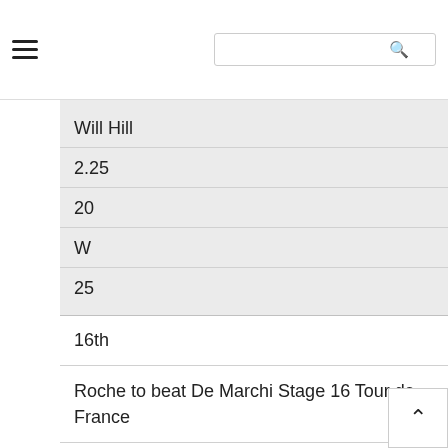Will Hill
2.25
20
W
25
16th
Roche to beat De Marchi Stage 16 Tour de France
Will Hill
2.2